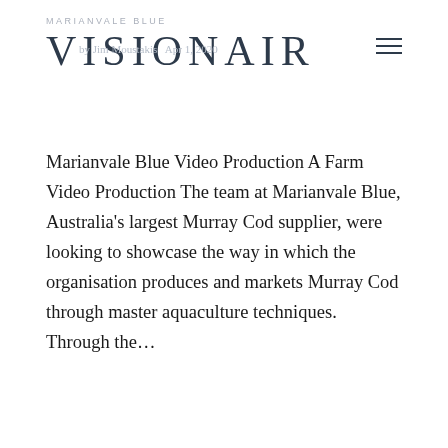MARIANVALE BLUE
VISIONAIR
by Jim Moustakis  Apr 1, 2020
Marianvale Blue Video Production A Farm Video Production The team at Marianvale Blue, Australia's largest Murray Cod supplier, were looking to showcase the way in which the organisation produces and markets Murray Cod through master aquaculture techniques. Through the...